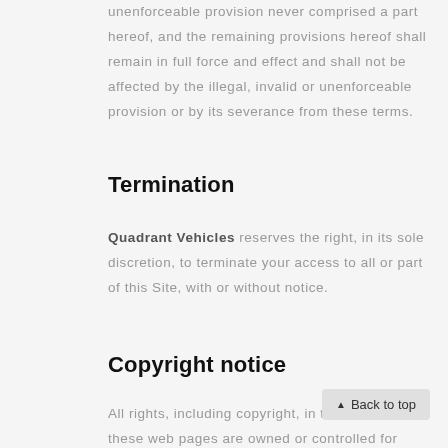unenforceable provision never comprised a part hereof, and the remaining provisions hereof shall remain in full force and effect and shall not be affected by the illegal, invalid or unenforceable provision or by its severance from these terms.
Termination
Quadrant Vehicles reserves the right, in its sole discretion, to terminate your access to all or part of this Site, with or without notice.
Copyright notice
All rights, including copyright, in the content of these web pages are owned or controlled for these